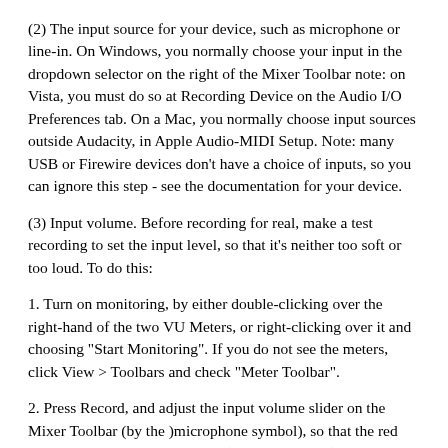(2) The input source for your device, such as microphone or line-in. On Windows, you normally choose your input in the dropdown selector on the right of the Mixer Toolbar note: on Vista, you must do so at Recording Device on the Audio I/O Preferences tab. On a Mac, you normally choose input sources outside Audacity, in Apple Audio-MIDI Setup. Note: many USB or Firewire devices don't have a choice of inputs, so you can ignore this step - see the documentation for your device.
(3) Input volume. Before recording for real, make a test recording to set the input level, so that it's neither too soft or too loud. To do this:
1. Turn on monitoring, by either double-clicking over the right-hand of the two VU Meters, or right-clicking over it and choosing "Start Monitoring". If you do not see the meters, click View > Toolbars and check "Meter Toolbar".
2. Press Record, and adjust the input volume slider on the Mixer Toolbar (by the )microphone symbol), so that the red bars in the meter come close to (but do not touch)